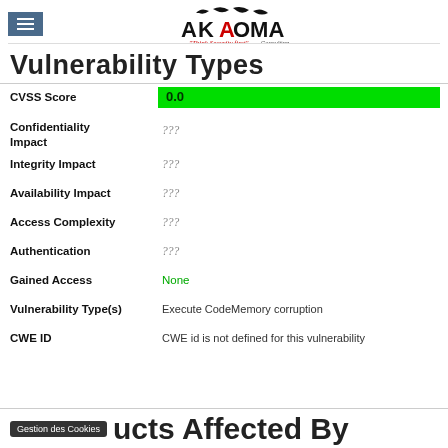[Figure (logo): Akaoma Consulting logo with eagle/bird graphic, text AKAOMA, tagline 'Think Security First', and 'Consulting']
Vulnerability Types
| Field | Value |
| --- | --- |
| CVSS Score | 0.0 |
| Confidentiality Impact | ??? |
| Integrity Impact | ??? |
| Availability Impact | ??? |
| Access Complexity | ??? |
| Authentication | ??? |
| Gained Access | None |
| Vulnerability Type(s) | Execute CodeMemory corruption |
| CWE ID | CWE id is not defined for this vulnerability |
Products Affected By